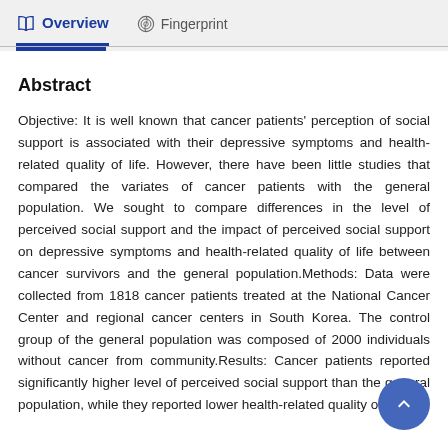Overview   Fingerprint
Abstract
Objective: It is well known that cancer patients' perception of social support is associated with their depressive symptoms and health-related quality of life. However, there have been little studies that compared the variates of cancer patients with the general population. We sought to compare differences in the level of perceived social support and the impact of perceived social support on depressive symptoms and health-related quality of life between cancer survivors and the general population.Methods: Data were collected from 1818 cancer patients treated at the National Cancer Center and regional cancer centers in South Korea. The control group of the general population was composed of 2000 individuals without cancer from community.Results: Cancer patients reported significantly higher level of perceived social support than the general population, while they reported lower health-related quality of